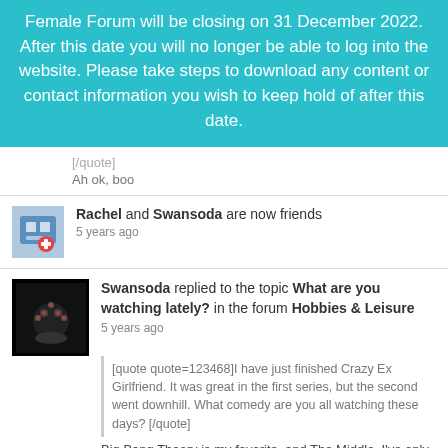Female Forum will be closing on 31 December 2022. After this date you will no longer be able to log into the website. Please take steps to download any content or contact information you wish to keep hold of after this date.
[/quote]
Ah ok, boo
Rachel and Swansoda are now friends
5 years ago
Swansoda replied to the topic What are you watching lately? in the forum Hobbies & Leisure
5 years ago
[quote quote=123468]I have just finished Crazy Ex Girlfriend. It was great in the first series, but the second went downhill. What comedy are you all watching these days? [/quote]
Big Bang Theory is my favorite, and The Middle. I've only